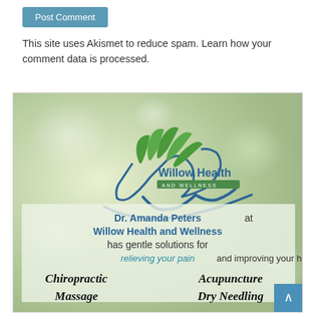Post Comment
This site uses Akismet to reduce spam. Learn how your comment data is processed.
[Figure (illustration): Willow Health and Wellness advertisement showing logo with willow tree, Dr. Amanda Peters name, and services: Chiropractic, Acupuncture, Massage, Dry Needling]